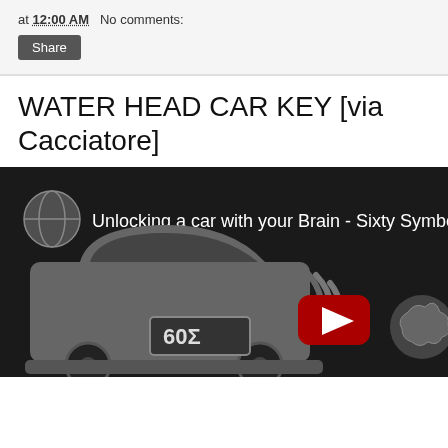at 12:00 AM   No comments:
Share
WATER HEAD CAR KEY [via Cacciatore]
[Figure (screenshot): YouTube video thumbnail showing 'Unlocking a car with your Brain - Sixty Symbols' with a dark background featuring a car icon with '60Σ' on it, a WiFi/signal icon, a red YouTube play button, and a brain icon.]